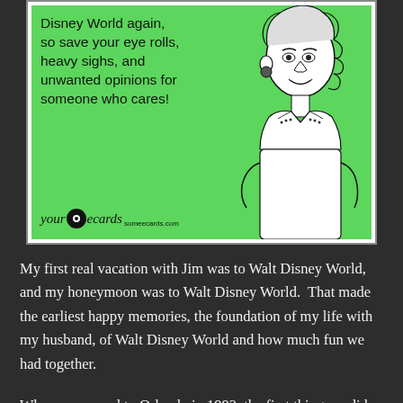[Figure (illustration): A someecards.com e-card with a green background. Left side has text: 'Disney World again, so save your eye rolls, heavy sighs, and unwanted opinions for someone who cares!' with 'your (eye logo) ecards someecards.com' branding at the bottom left. Right side shows a vintage line-drawing illustration of a smiling woman with curly hair and a collared shirt.]
My first real vacation with Jim was to Walt Disney World, and my honeymoon was to Walt Disney World.  That made the earliest happy memories, the foundation of my life with my husband, of Walt Disney World and how much fun we had together.
When we moved to Orlando in 1993, the first thing we did – without jobs to pay for them – was buy annual passes.  We were thousands of miles away from family